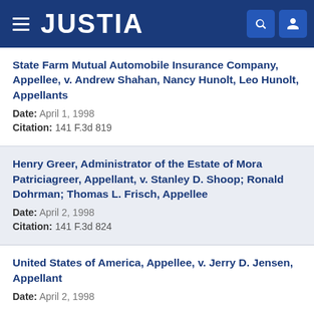JUSTIA
State Farm Mutual Automobile Insurance Company, Appellee, v. Andrew Shahan, Nancy Hunolt, Leo Hunolt, Appellants
Date: April 1, 1998
Citation: 141 F.3d 819
Henry Greer, Administrator of the Estate of Mora Patriciagreer, Appellant, v. Stanley D. Shoop; Ronald Dohrman; Thomas L. Frisch, Appellee
Date: April 2, 1998
Citation: 141 F.3d 824
United States of America, Appellee, v. Jerry D. Jensen, Appellant
Date: April 2, 1998